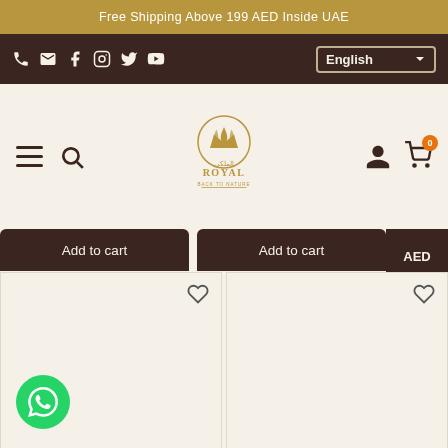Free Shipping Above 199 AED Inside UAE
[Figure (screenshot): Navigation bar with social media icons (phone, email, Facebook, Instagram, Twitter, YouTube) and English language selector dropdown]
[Figure (logo): Royal Back to Nature logo with crown and Arabic text]
Add to cart
Add to cart
AED
SAR
USD
[Figure (screenshot): Two product card areas with heart/wishlist icons and WhatsApp chat button]